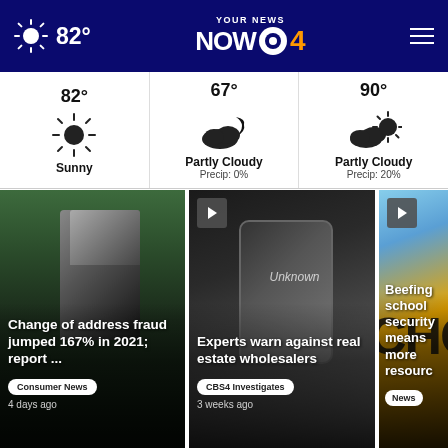82° — YOUR NEWS NOW CBS 4
[Figure (infographic): Weather strip showing three conditions: 82° Sunny, 67° Partly Cloudy Precip: 0%, 90° Partly Cloudy Precip: 20%]
[Figure (photo): News card: Change of address fraud jumped 167% in 2021; report... | Consumer News | 4 days ago]
[Figure (photo): News card with play button: Experts warn against real estate wholesalers | CBS4 Investigates | 3 weeks ago]
[Figure (photo): News card with play button: Beefing school security means more resources (partially visible) | News]